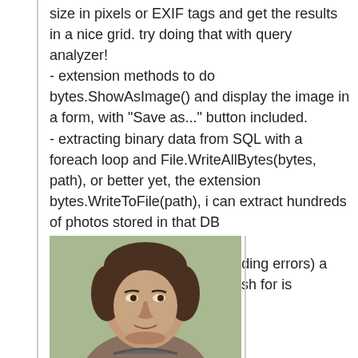size in pixels or EXIF tags and get the results in a nice grid. try doing that with query analyzer!
- extension methods to do bytes.ShowAsImage() and display the image in a form, with "Save as..." button included.
- extracting binary data from SQL with a foreach loop and File.WriteAllBytes(bytes, path), or better yet, the extension bytes.WriteToFile(path), i can extract hundreds of photos stored in that DB

it got syntax highlighting (including errors) a few weeks ago, so now all i wish for is intellisense (coming soon).
[Figure (photo): Portrait photo of a middle-aged man, head and shoulders, dark hair, against a light background.]